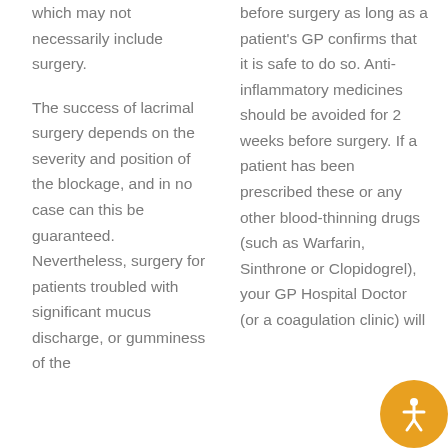which may not necessarily include surgery.
before surgery as long as a patient's GP confirms that it is safe to do so. Anti-inflammatory medicines should be avoided for 2 weeks before surgery. If a patient has been prescribed these or any other blood-thinning drugs (such as Warfarin, Sinthrone or Clopidogrel), your GP Hospital Doctor (or a coagulation clinic) will
The success of lacrimal surgery depends on the severity and position of the blockage, and in no case can this be guaranteed. Nevertheless, surgery for patients troubled with significant mucus discharge, or gumminess of the